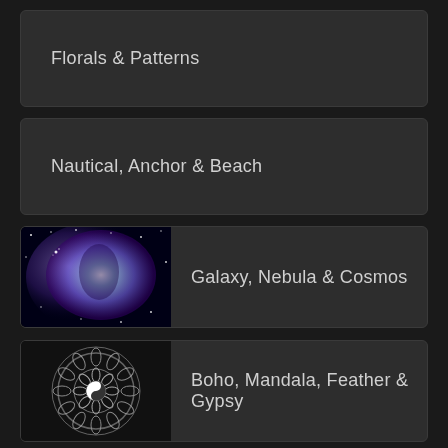Florals & Patterns
Nautical, Anchor & Beach
Galaxy, Nebula & Cosmos
Boho, Mandala, Feather & Gypsy
Cannabis & Marijuana